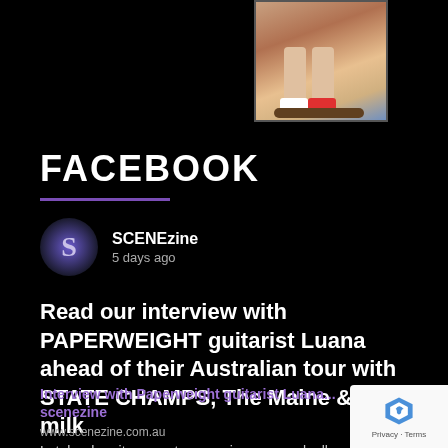[Figure (photo): Partial photo of person on a skateboard, showing legs and shoes, cropped at top]
FACEBOOK
[Figure (photo): SCENEzine logo avatar - circular profile picture with stylized S]
SCENEzine
5 days ago
Read our interview with PAPERWEIGHT guitarist Luana ahead of their Australian tour with STATE CHAMPS, The Maine & hot milk
Interview with Paperweight guitarist Luana
scenezine
www.scenezine.com.au
Lately when it comes to emerging pop punk all